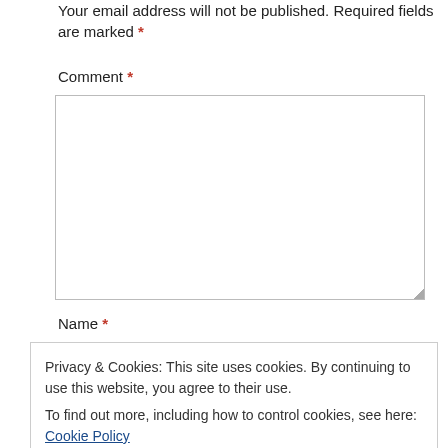Your email address will not be published. Required fields are marked *
Comment *
[Figure (screenshot): Empty comment textarea input box]
Name *
Privacy & Cookies: This site uses cookies. By continuing to use this website, you agree to their use. To find out more, including how to control cookies, see here: Cookie Policy
Close and accept